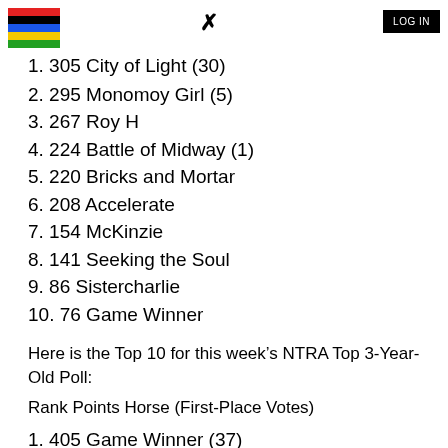LOG IN
1. 305 City of Light (30)
2. 295 Monomoy Girl (5)
3. 267 Roy H
4. 224 Battle of Midway (1)
5. 220 Bricks and Mortar
6. 208 Accelerate
7. 154 McKinzie
8. 141 Seeking the Soul
9. 86 Sistercharlie
10. 76 Game Winner
Here is the Top 10 for this week’s NTRA Top 3-Year-Old Poll:
Rank Points Horse (First-Place Votes)
1. 405 Game Winner (37)
2. 350 Improbable (3)
3. 273 War of Will (1)
4. 220 Mucho Gusto